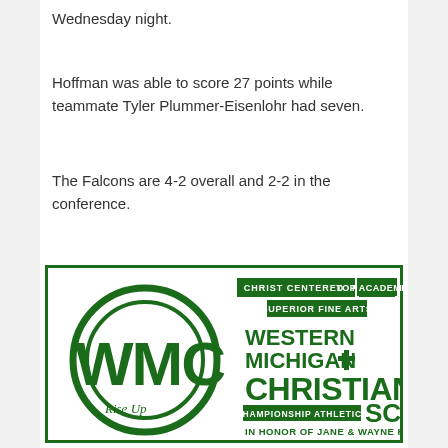Wednesday night.
Hoffman was able to score 27 points while teammate Tyler Plummer-Eisenlohr had seven.
The Falcons are 4-2 overall and 2-2 in the conference.
[Figure (logo): Western Michigan Christian School logo with WMC letters, circle design, Rise Up tagline, CHAMPIONSHIP ATHLETICS, Christ Centered, Top Academics, Superior Fine Arts, IN HONOR OF JANE & WAYNE HOFFMAN]